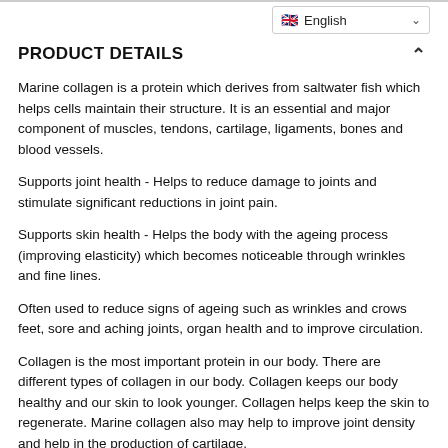PRODUCT DETAILS
Marine collagen is a protein which derives from saltwater fish which helps cells maintain their structure. It is an essential and major component of muscles, tendons, cartilage, ligaments, bones and blood vessels.
Supports joint health - Helps to reduce damage to joints and stimulate significant reductions in joint pain.
Supports skin health - Helps the body with the ageing process (improving elasticity) which becomes noticeable through wrinkles and fine lines.
Often used to reduce signs of ageing such as wrinkles and crows feet, sore and aching joints, organ health and to improve circulation.
Collagen is the most important protein in our body. There are different types of collagen in our body. Collagen keeps our body healthy and our skin to look younger. Collagen helps keep the skin to regenerate. Marine collagen also may help to improve joint density and help in the production of cartilage.
Your body combines collagen with other proteins to give collagen its elastic property - so crucial in the formation, development and